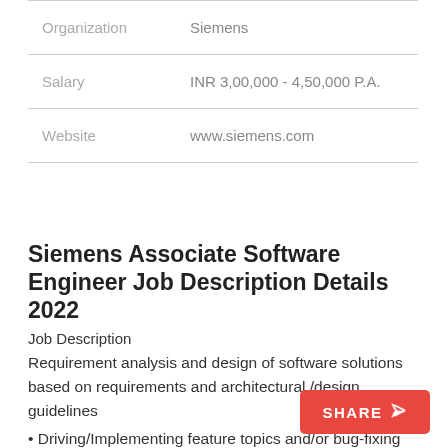| Organization | Siemens |
| Salary | INR 3,00,000 - 4,50,000 P.A. |
| Website | www.siemens.com |
Siemens Associate Software Engineer Job Description Details 2022
Job Description
Requirement analysis and design of software solutions based on requirements and architectural /design guidelines
• Driving/Implementing feature topics and/or bug-fixing and delivering solutions adhering to coding guidelines